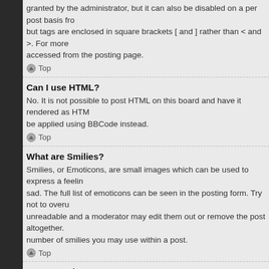granted by the administrator, but it can also be disabled on a per post basis from but tags are enclosed in square brackets [ and ] rather than < and >. For more accessed from the posting page.
Top
Can I use HTML?
No. It is not possible to post HTML on this board and have it rendered as HTML. be applied using BBCode instead.
Top
What are Smilies?
Smilies, or Emoticons, are small images which can be used to express a feeling sad. The full list of emoticons can be seen in the posting form. Try not to overu unreadable and a moderator may edit them out or remove the post altogether. number of smilies you may use within a post.
Top
Can I post images?
Yes, images can be shown in your posts. If the administrator has allowed attach Otherwise, you must link to an image stored on a publicly accessible web serve link to pictures stored on your own PC (unless it is a publicly accessible server) hotmail or yahoo mailboxes, password protected sites, etc. To display the imag
Top
What are global announcements?